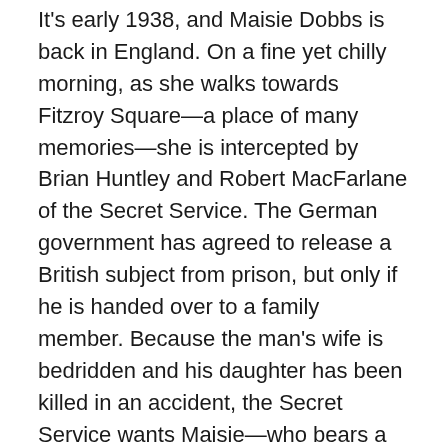It's early 1938, and Maisie Dobbs is back in England. On a fine yet chilly morning, as she walks towards Fitzroy Square—a place of many memories—she is intercepted by Brian Huntley and Robert MacFarlane of the Secret Service. The German government has agreed to release a British subject from prison, but only if he is handed over to a family member. Because the man's wife is bedridden and his daughter has been killed in an accident, the Secret Service wants Maisie—who bears a striking resemblance to the daughter—to retrieve the man from Dachau, on the outskirts of Munich.
The British government is not alone in its interest in Maisie's travel plans. Her nemesis—the man she holds responsible for her husband's death—has learned of her journey, and is also desperate for her help.
Traveling into the heart of Nazi Germany, Maisie encounters unexpected dangers—and finds herself